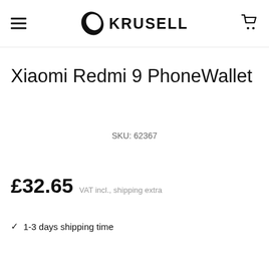KRUSELL
Xiaomi Redmi 9 PhoneWallet
SKU: 62367
£32.65 VAT incl., shipping extra
✔ 1-3 days shipping time